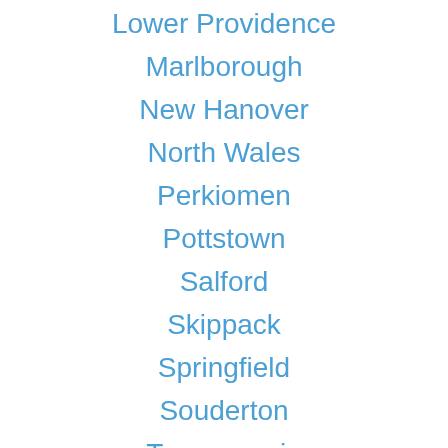Lower Providence
Marlborough
New Hanover
North Wales
Perkiomen
Pottstown
Salford
Skippack
Springfield
Souderton
Towamencin
Upper Dublin
Upper Frederick
Upper Merion
Upper Moreland